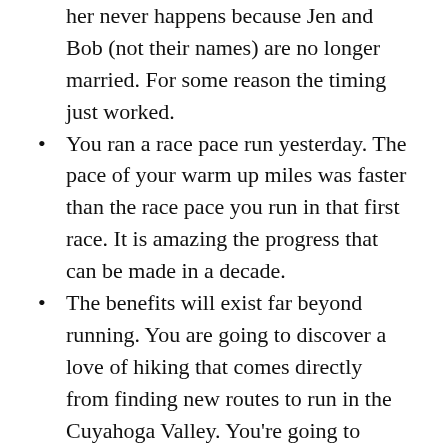her never happens because Jen and Bob (not their names) are no longer married. For some reason the timing just worked.
You ran a race pace run yesterday. The pace of your warm up miles was faster than the race pace you run in that first race. It is amazing the progress that can be made in a decade.
The benefits will exist far beyond running. You are going to discover a love of hiking that comes directly from finding new routes to run in the Cuyahoga Valley. You're going to come to love cooking and gardening because you're going to value eating well to fuel your workouts. You'll discover meditation as a means to improve your performance and it's going to bring a